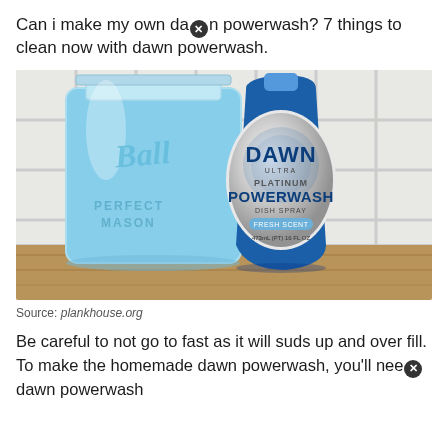Can i make my own dawn powerwash? 7 things to clean now with dawn powerwash.
[Figure (photo): A mason jar filled with blue liquid next to a bottle of Dawn Ultra Platinum Powerwash Dish Spray Fresh Scent 473mL on a wooden surface with white tile background.]
Source: plankhouse.org
Be careful to not go to fast as it will suds up and over fill. To make the homemade dawn powerwash, you'll need [blocked] dawn powerwash